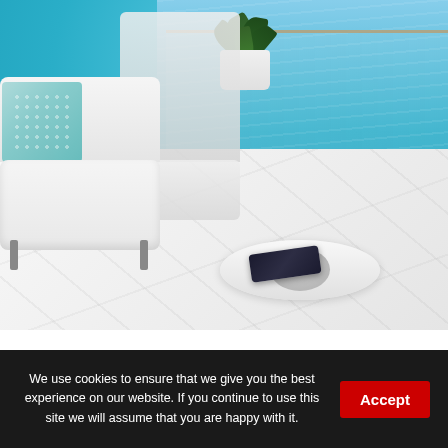[Figure (photo): Luxury outdoor terrace with white marble flooring, modern white upholstered lounge chairs with metal frames, a teal decorative cushion, a round white side table with a smartphone on it, a large white planter with a green plant, and a glass railing overlooking a bright turquoise ocean.]
We use cookies to ensure that we give you the best experience on our website. If you continue to use this site we will assume that you are happy with it.